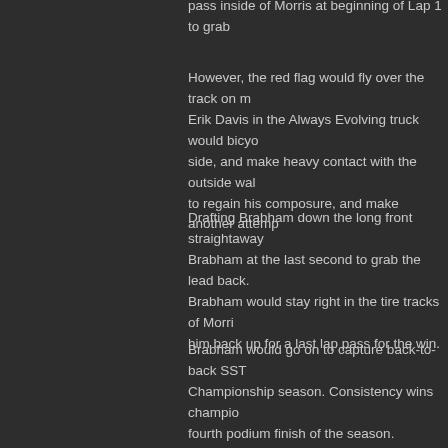pass inside of Morris at beginning of Lap 1 to grab...
However, the red flag would fly over the track on m... Erik Davis in the Always Evolving truck would bicyo... side, and make heavy contact with the outside wal... to regain his composure, and make another attemp...
Drafting Brabham down the long front straightaway... Brabham at the last second to grab the lead back. Brabham would stay right in the tire tracks of Morri... him back up for a last lap pass for the win.
Brabham would go on to capture back-to-back SS... Championship season. Consistency wins champio... fourth podium finish of the season.
Making his return to the Grand Prix of Long Beach... driving the Royal Purple Synthetic Oil truck would b... Starting in the seventh position Harlien would rema... contesting Brabham for the second position on Lap... three laps of the 9-lap race as Robby Gordon woul... to get by. Harlien would hold off one of the greats o... podium.